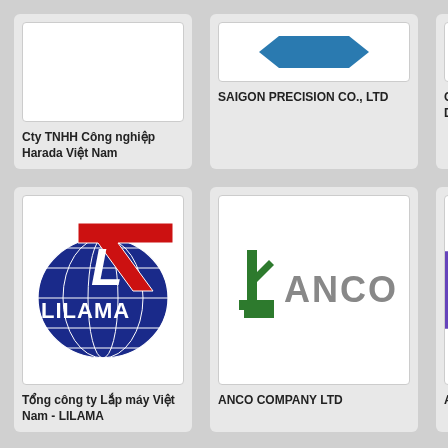[Figure (logo): Cty TNHH Công nghiệp Harada Việt Nam logo (white box, partial)]
Cty TNHH Công nghiệp Harada Việt Nam
[Figure (logo): Saigon Precision Co., Ltd logo (blue hexagonal shape)]
SAIGON PRECISION CO., LTD
[Figure (logo): Partial card top right]
Cô DV
[Figure (logo): LILAMA logo - blue globe with red L letter and LILAMA text]
Tổng công ty Lắp máy Việt Nam - LILAMA
[Figure (logo): ANCO logo - green figure and ANCO text in gray]
ANCO COMPANY LTD
[Figure (logo): Partial card right with purple/blue logo]
AV
[Figure (logo): Hirota Precision Nhật logo placeholder]
Công ty Hirota Precision Nhật
[Figure (logo): Bonfiglioli Italia logo placeholder]
Công ty Bonfiglioli Italia
[Figure (logo): Partial card bottom right]
Cô Na